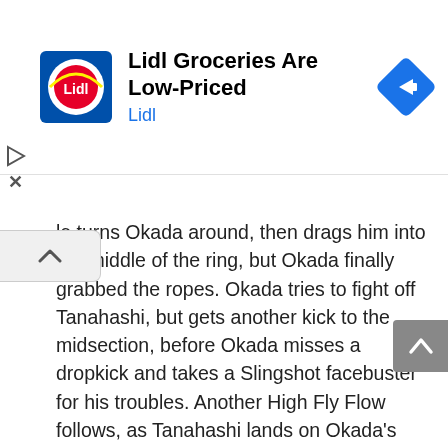[Figure (other): Lidl advertisement banner with Lidl logo, title 'Lidl Groceries Are Low-Priced', source label 'Lidl', and a blue navigation arrow icon on the right]
le turns Okada around, then drags him into the middle of the ring, but Okada finally grabbed the ropes. Okada tries to fight off Tanahashi, but gets another kick to the midsection, before Okada misses a dropkick and takes a Slingshot facebuster for his troubles. Another High Fly Flow follows, as Tanahashi lands on Okada's back, before a second High Fly Flow only gets the knees, and just about saved the match for Okada.
As the time limit ran close, Tanahashi grabbed a half nelson, but Okada made the ropes, before scooping up Tanahashi for a tombstone. Tanahashi reversed back out of it, and dropped Okada with his own move, before landing a reverse neckbreaker into a Slingblade, and then yet another High Fly Flow, except this time the crossbody was met with an Okada dropkick!